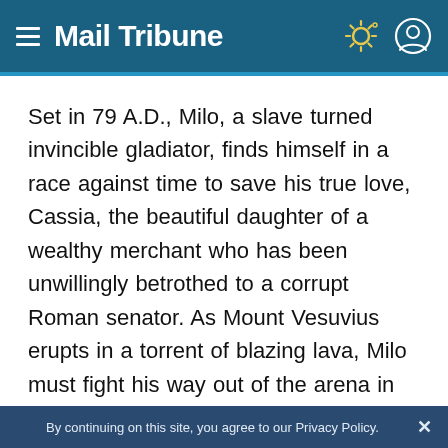Mail Tribune
Set in 79 A.D., Milo, a slave turned invincible gladiator, finds himself in a race against time to save his true love, Cassia, the beautiful daughter of a wealthy merchant who has been unwillingly betrothed to a corrupt Roman senator. As Mount Vesuvius erupts in a torrent of blazing lava, Milo must fight his way out of the arena in order to save his beloved as the once magnificent Pompeii crumbles around him. Directed by Paul W.S. Anderson. Starring
By continuing on this site, you agree to our Privacy Policy.